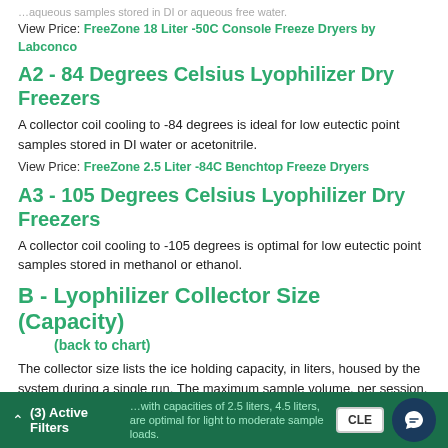…aqueous samples stored in DI or aqueous free water.
View Price: FreeZone 18 Liter -50C Console Freeze Dryers by Labconco
A2 - 84 Degrees Celsius Lyophilizer Dry Freezers
A collector coil cooling to -84 degrees is ideal for low eutectic point samples stored in DI water or acetonitrile.
View Price: FreeZone 2.5 Liter -84C Benchtop Freeze Dryers
A3 - 105 Degrees Celsius Lyophilizer Dry Freezers
A collector coil cooling to -105 degrees is optimal for low eutectic point samples stored in methanol or ethanol.
B - Lyophilizer Collector Size (Capacity)
(back to chart)
The collector size lists the ice holding capacity, in liters, housed by the system during a single run. The maximum sample volume, per session, is 50% of the ice holding capacity.
(3) Active Filters  …with capacities of 2.5 liters, 4.5 liters, are optimal for light to moderate sample loads.  CLEAR